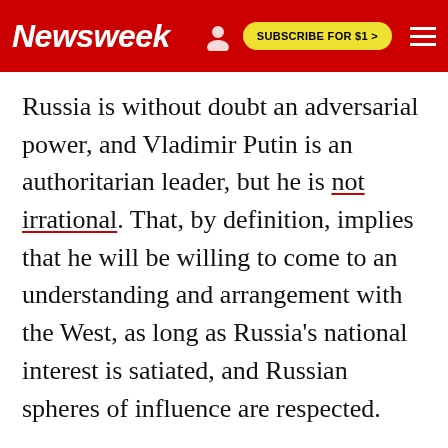Newsweek | SUBSCRIBE FOR $1 >
Russia is without doubt an adversarial power, and Vladimir Putin is an authoritarian leader, but he is not irrational. That, by definition, implies that he will be willing to come to an understanding and arrangement with the West, as long as Russia's national interest is satiated, and Russian spheres of influence are respected.
Russia is also suffering from declining demographics, a stagnated mono-industrial economy, severe lack of soft power, and a